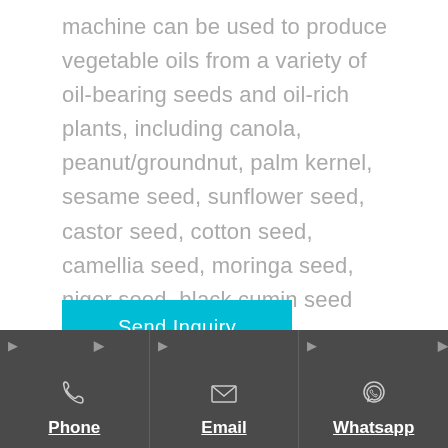machine can be used to produce vegetable oils from a variety of oil-bearing seeds and oil-rich plants, including canola, peanut/groundnut, palm kernel, sesame seed, sunflower seed, castor seed, cotton seed, camellia seed, moringa seed, niger seed, black cumin seed and more.
Send Inquiry
Phone | Email | Whatsapp